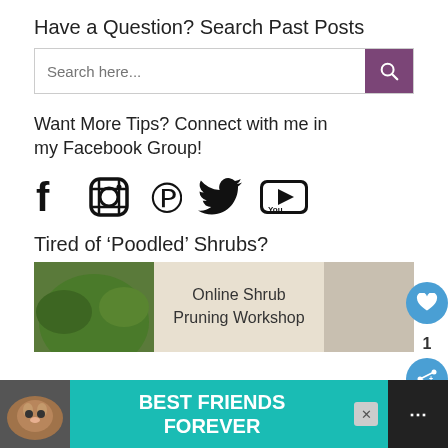Have a Question? Search Past Posts
[Figure (screenshot): Search bar with placeholder text 'Search here...' and a purple search button with magnifying glass icon]
Want More Tips? Connect with me in my Facebook Group!
[Figure (illustration): Row of social media icons: Facebook, Instagram, Pinterest, Twitter, YouTube]
Tired of ‘Poodled’ Shrubs?
[Figure (photo): Image of shrubs with text overlay: Online Shrub Pruning Workshop]
[Figure (photo): Advertisement banner: BEST FRIENDS FOREVER with cat image on teal background]